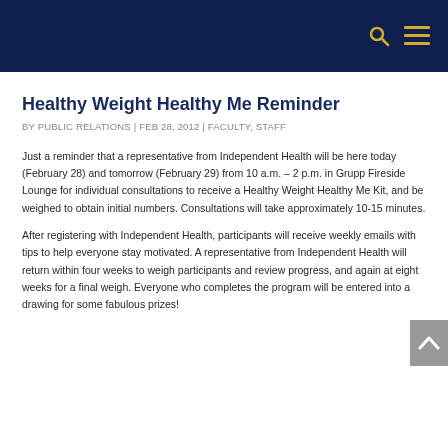Navigation bar with search and menu icons
Healthy Weight Healthy Me Reminder
BY PUBLIC RELATIONS | FEB 28, 2012 | FACULTY, STAFF
Just a reminder that a representative from Independent Health will be here today (February 28) and tomorrow (February 29) from 10 a.m. – 2 p.m. in Grupp Fireside Lounge for individual consultations to receive a Healthy Weight Healthy Me Kit, and be weighed to obtain initial numbers.  Consultations will take approximately 10-15 minutes.
After registering with Independent Health, participants will receive weekly emails with tips to help everyone stay motivated.  A representative from Independent Health will return within four weeks to weigh participants and review progress, and again at eight weeks for a final weigh. Everyone who completes the program will be entered into a drawing for some fabulous prizes!